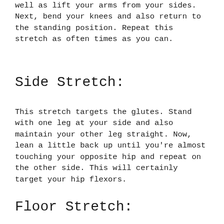well as lift your arms from your sides. Next, bend your knees and also return to the standing position. Repeat this stretch as often times as you can.
Side Stretch:
This stretch targets the glutes. Stand with one leg at your side and also maintain your other leg straight. Now, lean a little back up until you're almost touching your opposite hip and repeat on the other side. This will certainly target your hip flexors.
Floor Stretch: